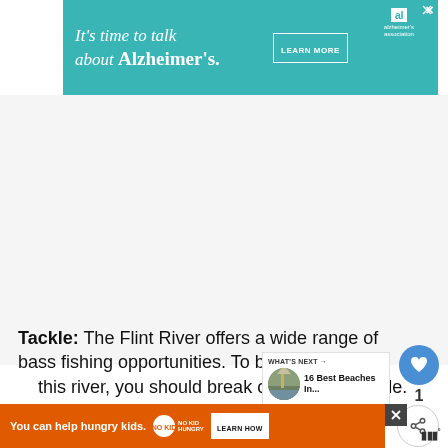[Figure (other): Alzheimer's Association advertisement banner: teal background, text 'It's time to talk about Alzheimer's.' with LEARN MORE button and Alzheimer's Association logo]
Tackle: The Flint River offers a wide range of bass fishing opportunities. To best take adva[ntage of] this river, you should break out the light tackle. Put aw[ay the 30lb test and go smaller, floating m]
[Figure (other): What's Next widget: circular thumbnail of a lighthouse/beach scene, title '16 Best Beaches In...']
[Figure (other): Bottom advertisement: orange banner 'You can help hungry kids.' with No Kid Hungry logo and LEARN HOW button]